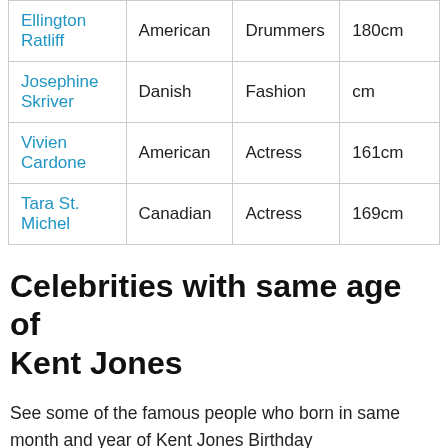| Ellington Ratliff | American | Drummers | 180cm |
| Josephine Skriver | Danish | Fashion | cm |
| Vivien Cardone | American | Actress | 161cm |
| Tara St. Michel | Canadian | Actress | 169cm |
Celebrities with same age of Kent Jones
See some of the famous people who born in same month and year of Kent Jones Birthday